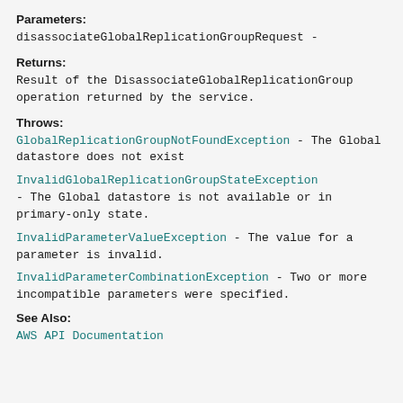Parameters:
disassociateGlobalReplicationGroupRequest -
Returns:
Result of the DisassociateGlobalReplicationGroup operation returned by the service.
Throws:
GlobalReplicationGroupNotFoundException - The Global datastore does not exist
InvalidGlobalReplicationGroupStateException - The Global datastore is not available or in primary-only state.
InvalidParameterValueException - The value for a parameter is invalid.
InvalidParameterCombinationException - Two or more incompatible parameters were specified.
See Also:
AWS API Documentation